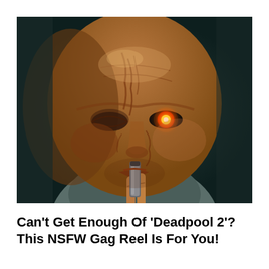[Figure (photo): Close-up photograph of a scarred, bald man with one glowing red/orange eye, holding a metallic object near his lips with a menacing expression. Dark, moody background. Appears to be a movie still from Deadpool 2 featuring the character Cable or a villain.]
Can't Get Enough Of 'Deadpool 2'? This NSFW Gag Reel Is For You!